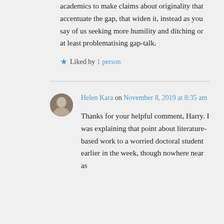academics to make claims about originality that accentuate the gap, that widen it, instead as you say of us seeking more humility and ditching or at least problematising gap-talk.
★ Liked by 1 person
Helen Kara on November 8, 2019 at 8:35 am
Thanks for your helpful comment, Harry. I was explaining that point about literature-based work to a worried doctoral student earlier in the week, though nowhere near as